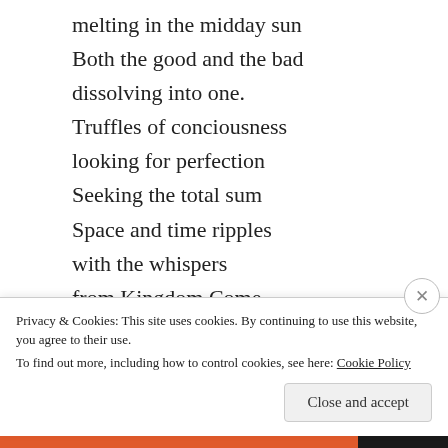melting in the midday sun
Both the good and the bad
dissolving into one.
Truffles of conciousness
looking for perfection
Seeking the total sum
Space and time ripples
with the whispers
from Kingdom Come.
★ Liked by 7 people
REPLY
Privacy & Cookies: This site uses cookies. By continuing to use this website, you agree to their use.
To find out more, including how to control cookies, see here: Cookie Policy
Close and accept